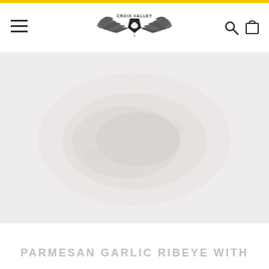Croix Valley — navigation header with hamburger menu, logo, search and cart icons
[Figure (photo): Faint/washed-out hero image of a prepared ribeye steak dish on a light background]
PARMESAN GARLIC RIBEYE WITH